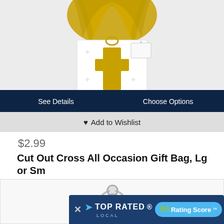[Figure (photo): White gift bag with gold cross cutout and gold tissue paper spilling out from the top, shown against white background. Stars visible overlaid at bottom of image.]
See Details
Choose Options
♥ Add to Wishlist
$2.99
Cut Out Cross All Occasion Gift Bag, Lg or Sm
[Figure (photo): Silver oval pendant/charm with ring bail on top, radiating sunburst design in center, on white background.]
× TOP RATED LOCAL  99 Rating Score™